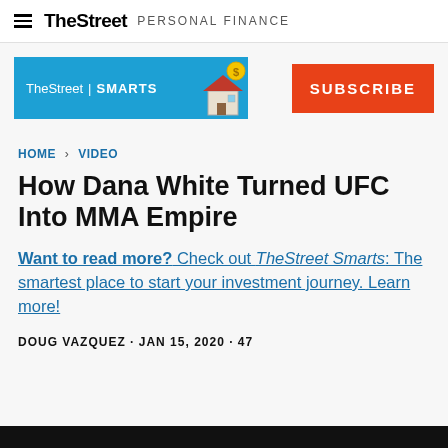TheStreet PERSONAL FINANCE
[Figure (logo): TheStreet | SMARTS banner with house/coin illustration]
[Figure (other): SUBSCRIBE button in red/orange]
HOME > VIDEO
How Dana White Turned UFC Into MMA Empire
Want to read more? Check out TheStreet Smarts: The smartest place to start your investment journey. Learn more!
DOUG VAZQUEZ · JAN 15, 2020 · 47